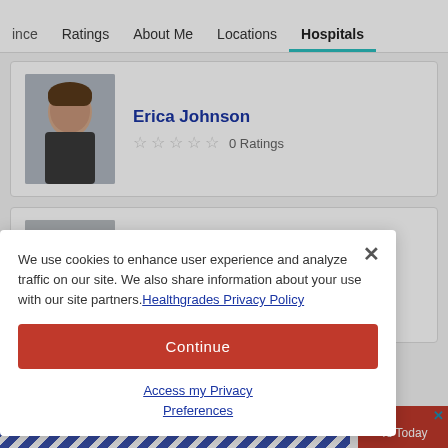ince  Ratings  About Me  Locations  Hospitals
Erica Johnson
★★★★★ 0 Ratings
Amanda Stolzer, PA-C
★★★★★ 0 Ratings
We use cookies to enhance user experience and analyze traffic on our site. We also share information about your use with our site partners. Healthgrades Privacy Policy
Continue
Access my Privacy Preferences